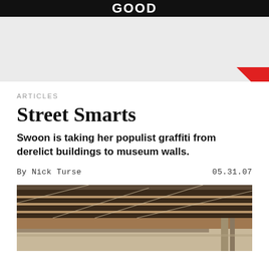GOOD
ARTICLES
Street Smarts
Swoon is taking her populist graffiti from derelict buildings to museum walls.
By Nick Turse  05.31.07
[Figure (photo): Interior architectural photo showing wooden ceiling rafters and beams from below, warm brown tones.]